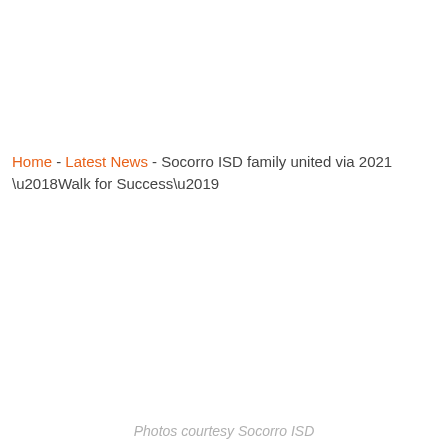Home - Latest News - Socorro ISD family united via 2021 ‘Walk for Success’
Photos courtesy Socorro ISD